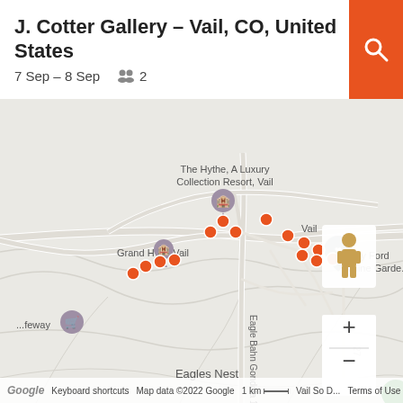J. Cotter Gallery – Vail, CO, United States
7 Sep – 8 Sep  👥  2
[Figure (map): Google Maps view of Vail, CO area showing The Hythe A Luxury Collection Resort Vail, Grand Hyatt Vail, Betty Ford Alpine Garden, Eagles Nest, Eagle Bahn Gondola 19, and various orange location pins scattered along the road network. A street view pegman icon and zoom +/- controls are visible on the right side.]
Google  Keyboard shortcuts  Map data ©2022 Google  1 km  Vail So D...  Terms of Use